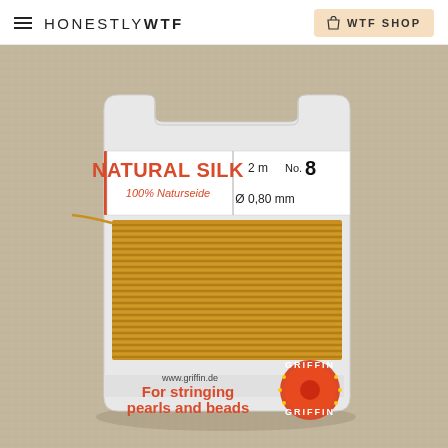HONESTLY WTF  |  WTF SHOP
[Figure (photo): Product photo of Griffin Natural Silk thread card, No. 8, 2m, 0.80mm diameter, golden yellow color, for stringing pearls and beads, on a linen fabric background]